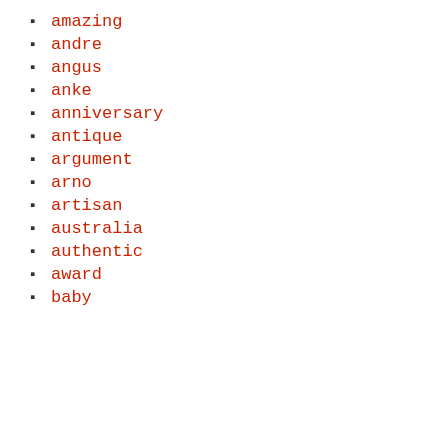amazing
andre
angus
anke
anniversary
antique
argument
arno
artisan
australia
authentic
award
baby